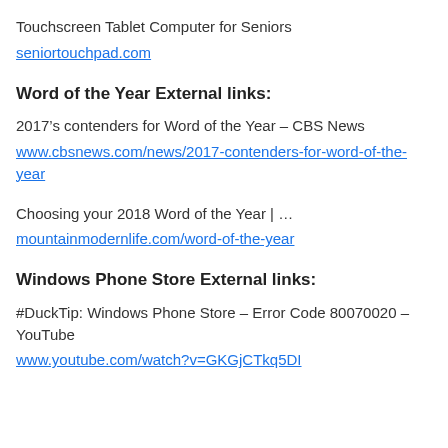Touchscreen Tablet Computer for Seniors
seniortouchpad.com
Word of the Year External links:
2017’s contenders for Word of the Year – CBS News
www.cbsnews.com/news/2017-contenders-for-word-of-the-year
Choosing your 2018 Word of the Year | …
mountainmodernlife.com/word-of-the-year
Windows Phone Store External links:
#DuckTip: Windows Phone Store – Error Code 80070020 – YouTube
www.youtube.com/watch?v=GKGjCTkq5DI